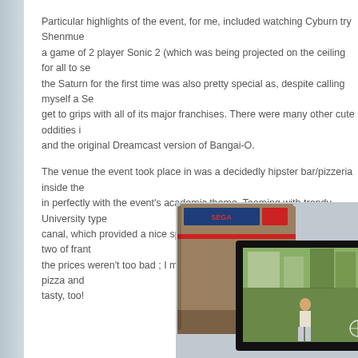Particular highlights of the event, for me, included watching Cyburn try Shenmue, a game of 2 player Sonic 2 (which was being projected on the ceiling for all to see), the Saturn for the first time was also pretty special as, despite calling myself a Se... get to grips with all of its major franchises. There were many other cute oddities i... and the original Dreamcast version of Bangai-O.
The venue the event took place in was a decidedly hipster bar/pizzeria inside the... in perfectly with the event's academic theme. Teeming with trendy University type... canal, which provided a nice spot to have a breather after an hour or two of frant... the prices weren't too bad ; I managed to treat myself and Cyburn to a pizza and... tasty, too!
[Figure (photo): Photo of an arcade cabinet with a monitor/screen showing a Shenmue game scene with a character walking. A black-framed monitor displays the game. There appears to be a dark sofa on the right side of the image.]